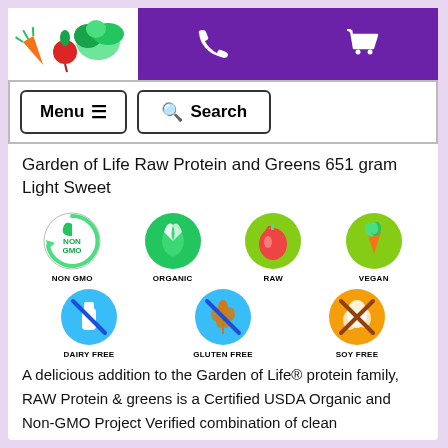[Figure (logo): Garden of Life vegetables logo with carrot, beet, and leafy greens]
[Figure (screenshot): Website navigation header with purple background, phone icon, and shopping cart icon]
[Figure (infographic): Menu and Search navigation buttons]
Garden of Life Raw Protein and Greens 651 gram Light Sweet
[Figure (infographic): Product certification badges: NON GMO, ORGANIC, RAW, VEGAN, DAIRY FREE, GLUTEN FREE, SOY FREE]
A delicious addition to the Garden of Life® protein family, RAW Protein & greens is a Certified USDA Organic and Non-GMO Project Verified combination of clean